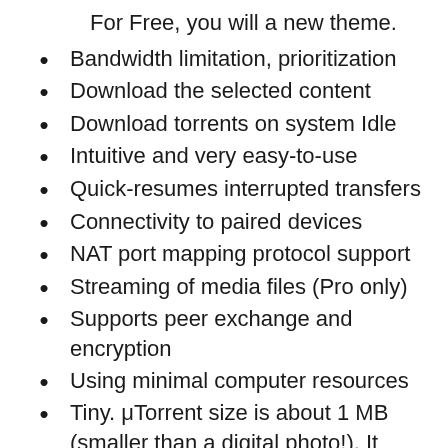For Free, you will a new theme.
Bandwidth limitation, prioritization
Download the selected content
Download torrents on system Idle
Intuitive and very easy-to-use
Quick-resumes interrupted transfers
Connectivity to paired devices
NAT port mapping protocol support
Streaming of media files (Pro only)
Supports peer exchange and encryption
Using minimal computer resources
Tiny. μTorrent size is about 1 MB (smaller than a digital photo!). It installs ultra-fast with a light footprint on your computer and runs super-efficiently.
Multiple simultaneous downloads